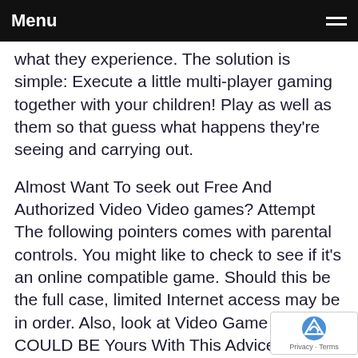Menu
what they experience. The solution is simple: Execute a little multi-player gaming together with your children! Play as well as them so that guess what happens they're seeing and carrying out.
Almost Want To seek out Free And Authorized Video Video games? Attempt The following pointers comes with parental controls. You might like to check to see if it's an online compatible game. Should this be the full case, limited Internet access may be in order. Also, look at Video Game Mastery COULD BE Yours With This Advice receive and minimize their playing time.